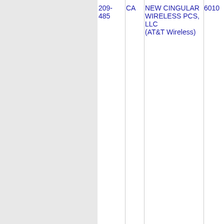| NPA-NXX | ST | Name | Code |
| --- | --- | --- | --- |
| 209-485 | CA | NEW CINGULAR WIRELESS PCS, LLC (AT&T Wireless) | 6010 |
| 209-485-0 | CA | NEW CINGULAR WIRELESS PCS, LLC (AT&T Wireless) | 6010 |
Thousands block for 209-485